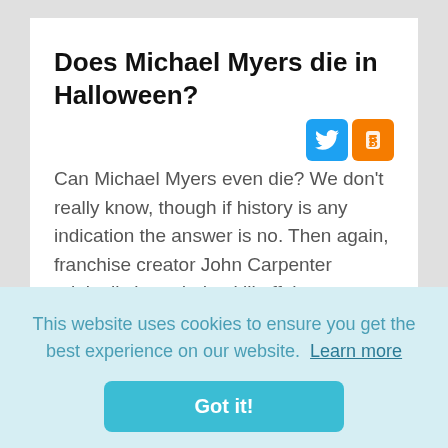Does Michael Myers die in Halloween?
Can Michael Myers even die? We don't really know, though if history is any indication the answer is no. Then again, franchise creator John Carpenter originally intended to kill off the character with Halloween II, which also
This website uses cookies to ensure you get the best experience on our website. Learn more
Got it!
Did Michael Myers die at the end